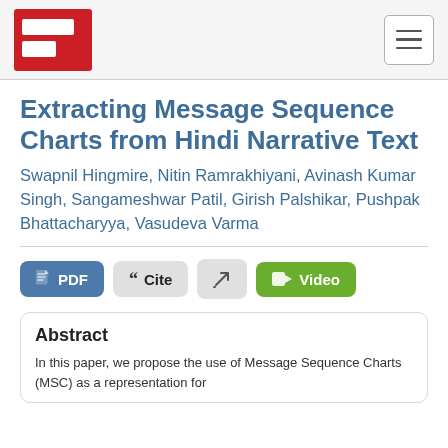[Navigation header with logo and hamburger menu]
Extracting Message Sequence Charts from Hindi Narrative Text
Swapnil Hingmire, Nitin Ramrakhiyani, Avinash Kumar Singh, Sangameshwar Patil, Girish Palshikar, Pushpak Bhattacharyya, Vasudeva Varma
[Buttons: PDF, Cite, icon, Video]
Abstract
In this paper, we propose the use of Message Sequence Charts (MSC) as a representation for